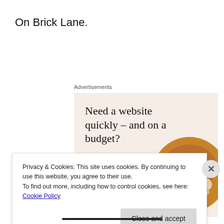On Brick Lane.
Advertisements
[Figure (illustration): Advertisement banner with beige/cream background. Large serif headline 'Need a website quickly – and on a budget?', subtext 'Let us build it for you', a white button 'Let’s get started', and a circular photo of hands working on a laptop.]
Privacy & Cookies: This site uses cookies. By continuing to use this website, you agree to their use.
To find out more, including how to control cookies, see here: Cookie Policy
Close and accept